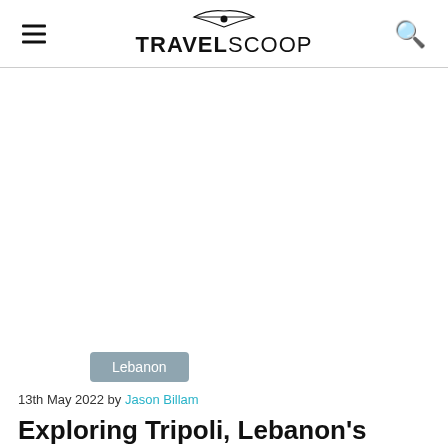TRAVELSCOOP
[Figure (other): Advertisement or blank area]
Lebanon
13th May 2022 by Jason Billam
Exploring Tripoli, Lebanon's most